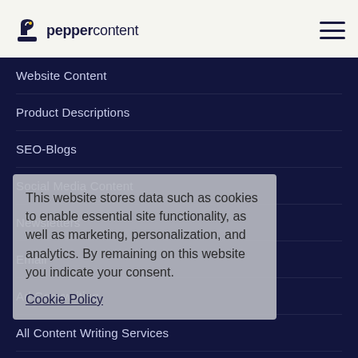[Figure (logo): Pepper Content logo with ink bottle icon and text 'peppercontent']
Website Content
Product Descriptions
SEO-Blogs
Social Media Content
Newsletters
Email
Ad Copywriting
All Content Writing Services
GRAPHIC DESIGNING SERVICES
Ads/CDN Banners
Emailer Design
This website stores data such as cookies to enable essential site functionality, as well as marketing, personalization, and analytics. By remaining on this website you indicate your consent.
Cookie Policy